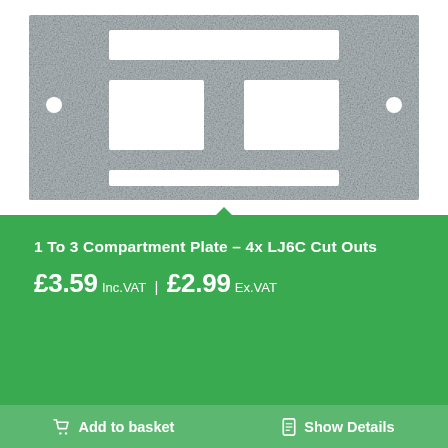[Figure (photo): Silver/grey metal plate with 4 rectangular LJ6C cut-outs arranged in two rows, with mounting holes in each corner. The plate has a textured surface.]
1 To 3 Compartment Plate – 4x LJ6C Cut Outs
£3.59 Inc.VAT | £2.99 Ex.VAT
Add to basket
Show Details